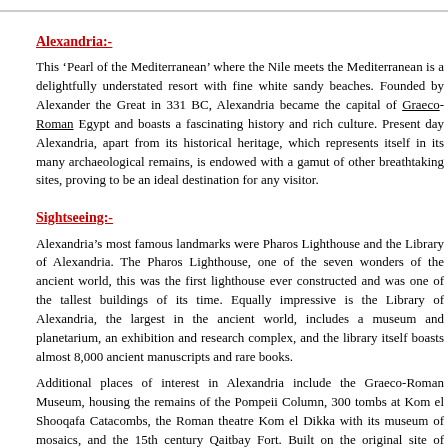Alexandria:-
This 'Pearl of the Mediterranean' where the Nile meets the Mediterranean is a delightfully understated resort with fine white sandy beaches. Founded by Alexander the Great in 331 BC, Alexandria became the capital of Graeco-Roman Egypt and boasts a fascinating history and rich culture. Present day Alexandria, apart from its historical heritage, which represents itself in its many archaeological remains, is endowed with a gamut of other breathtaking sites, proving to be an ideal destination for any visitor.
Sightseeing:-
Alexandria's most famous landmarks were Pharos Lighthouse and the Library of Alexandria. The Pharos Lighthouse, one of the seven wonders of the ancient world, this was the first lighthouse ever constructed and was one of the tallest buildings of its time. Equally impressive is the Library of Alexandria, the largest in the ancient world, includes a museum and planetarium, an exhibition and research complex, and the library itself boasts almost 8,000 ancient manuscripts and rare books.
Additional places of interest in Alexandria include the Graeco-Roman Museum, housing the remains of the Pompeii Column, 300 tombs at Kom el Shooqafa Catacombs, the Roman theatre Kom el Dikka with its museum of mosaics, and the 15th century Qaitbay Fort. Built on the original site of Pharos Lighthouse, the fort guards the bay at the far end of the Corniche.
Shopping:-
There are numerous shopping malls; however the Midan Tarir and Ramla are the major shopping centres in the city where you can find local artifacts as well as global international brands.